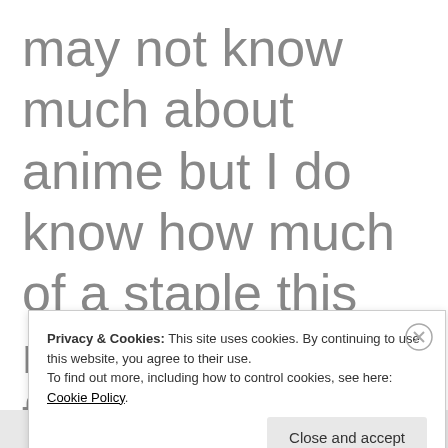may not know much about anime but I do know how much of a staple this movie is among fans of the genre, as are most of Miyazaki's movies. One of my strongest memories of high
Privacy & Cookies: This site uses cookies. By continuing to use this website, you agree to their use.
To find out more, including how to control cookies, see here: Cookie Policy
Close and accept